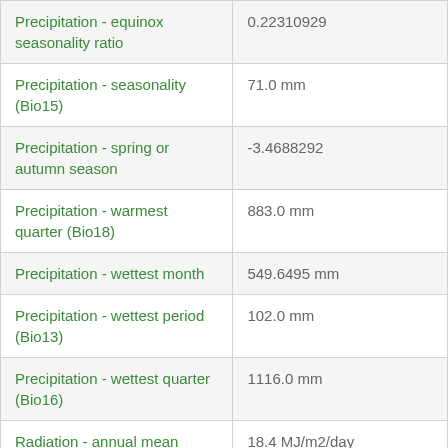| Property | Value |
| --- | --- |
| Precipitation - equinox seasonality ratio | 0.22310929 |
| Precipitation - seasonality (Bio15) | 71.0 mm |
| Precipitation - spring or autumn season | -3.4688292 |
| Precipitation - warmest quarter (Bio18) | 883.0 mm |
| Precipitation - wettest month | 549.6495 mm |
| Precipitation - wettest period (Bio13) | 102.0 mm |
| Precipitation - wettest quarter (Bio16) | 1116.0 mm |
| Radiation - annual mean (Bio20) | 18.4 MJ/m2/day |
| Radiation - seasonality (Bio23) | 19.0 |
| Radiation - warmest quarter (Bio26) | 20.9 MJ/m2/day |